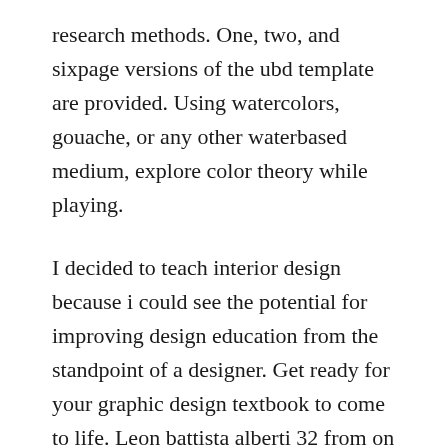research methods. One, two, and sixpage versions of the ubd template are provided. Using watercolors, gouache, or any other waterbased medium, explore color theory while playing.
I decided to teach interior design because i could see the potential for improving design education from the standpoint of a designer. Get ready for your graphic design textbook to come to life. Leon battista alberti 32 from on the art of building, book 6 144352. Later in the book, we will show how to map